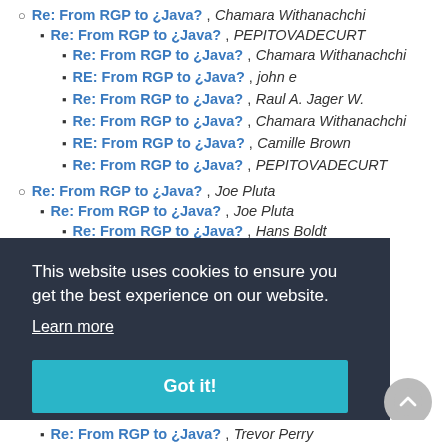Re: From RGP to ¿Java? , Chamara Withanachchi
Re: From RGP to ¿Java? , PEPITOVADECURT
Re: From RGP to ¿Java? , Chamara Withanachchi
RE: From RGP to ¿Java? , john e
Re: From RGP to ¿Java? , Raul A. Jager W.
Re: From RGP to ¿Java? , Chamara Withanachchi
RE: From RGP to ¿Java? , Camille Brown
Re: From RGP to ¿Java? , PEPITOVADECURT
Re: From RGP to ¿Java? , Joe Pluta
Re: From RGP to ¿Java? , Joe Pluta
Re: From RGP to ¿Java? , Hans Boldt
Re: From RGP to ¿Java? , Alan Shore
This website uses cookies to ensure you get the best experience on our website.
Learn more
Got it!
Re: From RGP to ¿Java? , Trevor Perry